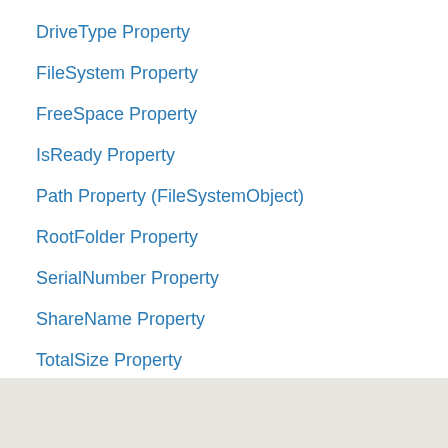DriveType Property
FileSystem Property
FreeSpace Property
IsReady Property
Path Property (FileSystemObject)
RootFolder Property
SerialNumber Property
ShareName Property
TotalSize Property